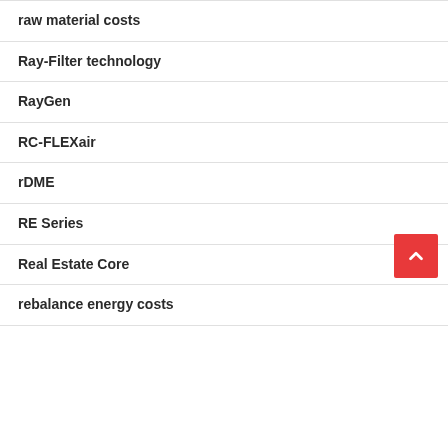raw material costs
Ray-Filter technology
RayGen
RC-FLEXair
rDME
RE Series
Real Estate Core
rebalance energy costs